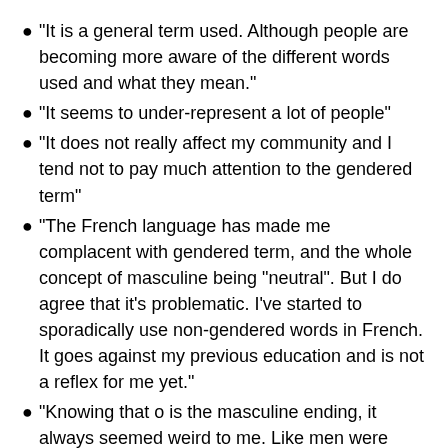“It is a general term used. Although people are becoming more aware of the different words used and what they mean.”
“It seems to under-represent a lot of people”
“It does not really affect my community and I tend not to pay much attention to the gendered term”
“The French language has made me complacent with gendered term, and the whole concept of masculine being “neutral”. But I do agree that it’s problematic. I’ve started to sporadically use non-gendered words in French. It goes against my previous education and is not a reflex for me yet.”
“Knowing that o is the masculine ending, it always seemed weird to me. Like men were somehow put first. My Spanish teacher explained that there could be a room with 100 women and if there was one man you would still use Nosotros. It always seemed weird.”
Most of the participants of this survey were millennials (67%).